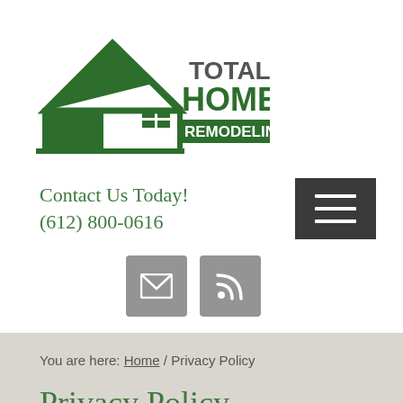[Figure (logo): Total Home Remodeling logo with green house silhouette and text]
Contact Us Today!
(612) 800-0616
[Figure (other): Hamburger menu button (three horizontal lines on dark background)]
[Figure (other): Email icon (envelope) button in grey]
[Figure (other): RSS feed icon button in grey]
You are here: Home / Privacy Policy
Privacy Policy
Privacy Policy